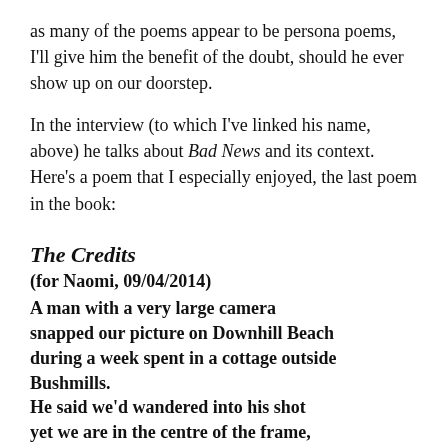as many of the poems appear to be persona poems, I'll give him the benefit of the doubt, should he ever show up on our doorstep.
In the interview (to which I've linked his name, above) he talks about Bad News and its context. Here's a poem that I especially enjoyed, the last poem in the book:
The Credits
(for Naomi, 09/04/2014)
A man with a very large camera
snapped our picture on Downhill Beach
during a week spent in a cottage outside
Bushmills.
He said we'd wandered into his shot
yet we are in the centre of the frame, making
it a picture of us, and the intrusion his camera's.
We were all his, once we had let him in,